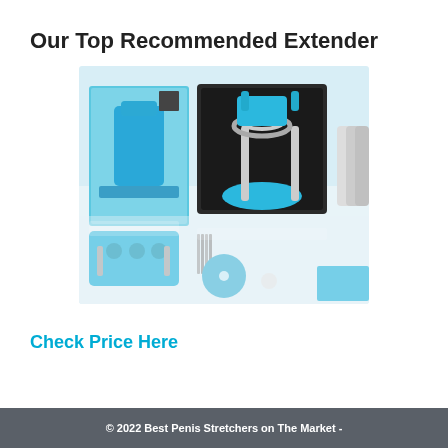Our Top Recommended Extender
[Figure (photo): Product photo of QuickExtender Pro device kit displayed with blue and white components, case, accessories and packaging on a white surface]
Check Price Here
© 2022 Best Penis Stretchers on The Market -